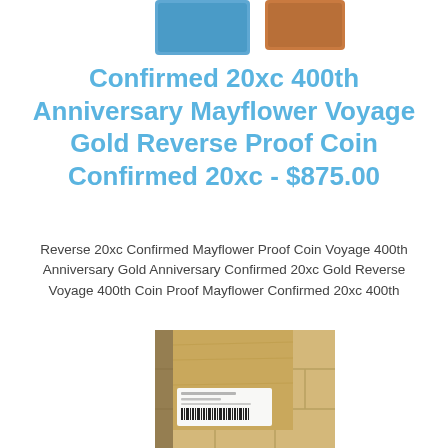[Figure (photo): Cropped top portion showing partial product images — a blue item on the left and an orange/red item on the right, partially visible at top of page]
Confirmed 20xc 400th Anniversary Mayflower Voyage Gold Reverse Proof Coin Confirmed 20xc - $875.00
Reverse 20xc Confirmed Mayflower Proof Coin Voyage 400th Anniversary Gold Anniversary Confirmed 20xc Gold Reverse Voyage 400th Coin Proof Mayflower Confirmed 20xc 400th
[Figure (photo): Photo of a cardboard box or package lying on a tile floor, with a white shipping/barcode label affixed to it]